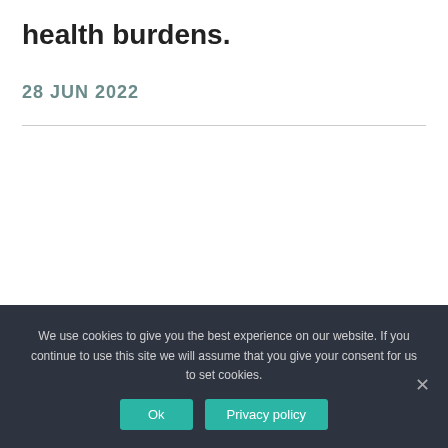health burdens.
28 JUN 2022
We use cookies to give you the best experience on our website. If you continue to use this site we will assume that you give your consent for us to set cookies.